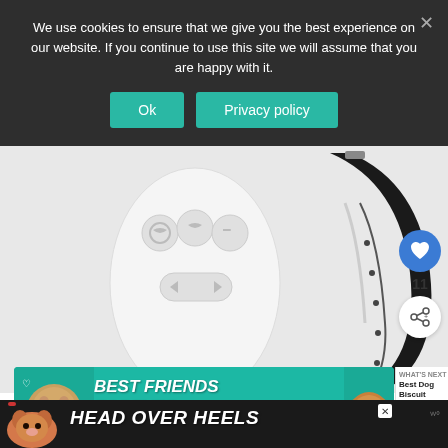We use cookies to ensure that we give you the best experience on our website. If you continue to use this site we will assume that you are happy with it.
Ok
Privacy policy
[Figure (photo): White handheld remote control device next to a black dog training collar on a white background]
11
[Figure (infographic): Teal advertisement banner with a cat image and text 'BEST FRIENDS FOREVER' in bold italic white letters]
WHAT'S NEXT → Best Dog Biscuit Treat...
[Figure (infographic): Dark advertisement banner with a dog image and text 'HEAD OVER HEELS' in bold italic white letters]